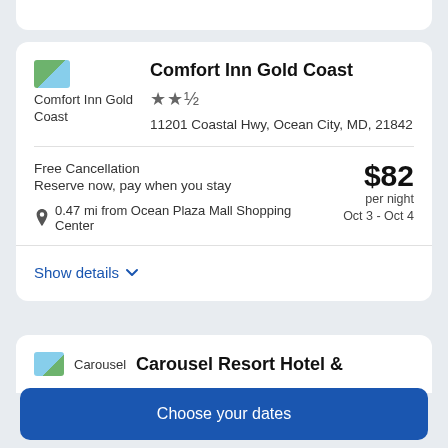[Figure (screenshot): Partial white card at top of page]
Comfort Inn Gold Coast
★★½
11201 Coastal Hwy, Ocean City, MD, 21842
Free Cancellation
Reserve now, pay when you stay
0.47 mi from Ocean Plaza Mall Shopping Center
$82 per night Oct 3 - Oct 4
Show details
Carousel Resort Hotel &
Choose your dates